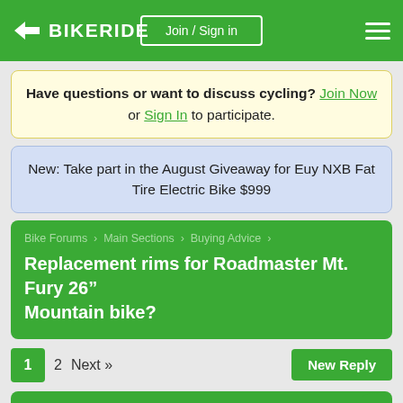BIKERIDE — Join / Sign in
Have questions or want to discuss cycling? Join Now or Sign In to participate.
New: Take part in the August Giveaway for Euy NXB Fat Tire Electric Bike $999
Bike Forums › Main Sections › Buying Advice ›
Replacement rims for Roadmaster Mt. Fury 26" Mountain bike?
1  2  Next »
New Reply
Replacement rims for Roadmaster Mt. Fury 26"